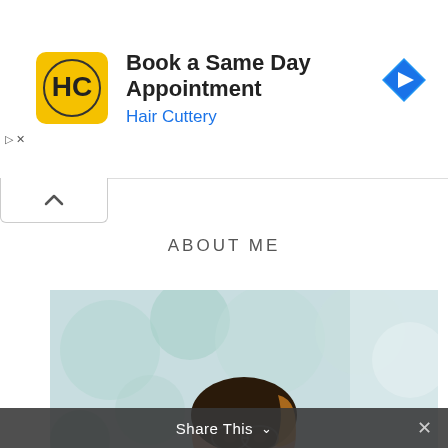[Figure (screenshot): Advertisement banner for Hair Cuttery with yellow logo, text 'Book a Same Day Appointment', subtitle 'Hair Cuttery', and blue navigation arrow icon on right]
ABOUT ME
[Figure (photo): Professional headshot of a young Asian woman with dark hair highlighted blonde, smiling, against a blurred light green/teal background]
Share This